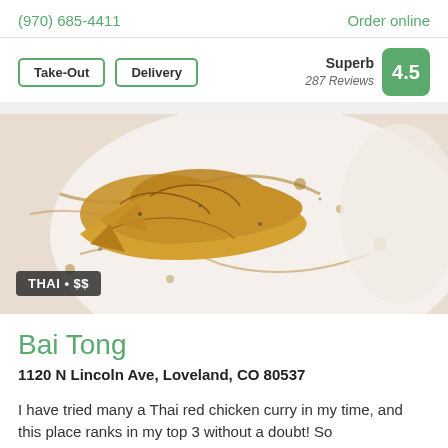(970) 685-4411    Order online
Take-Out   Delivery   Superb 287 Reviews 4.5
[Figure (photo): Close-up food photo of Thai dish (fried tofu or chicken) on a white plate with sauce, labeled THAI • $$]
Bai Tong
1120 N Lincoln Ave, Loveland, CO 80537
I have tried many a Thai red chicken curry in my time, and this place ranks in my top 3 without a doubt! So